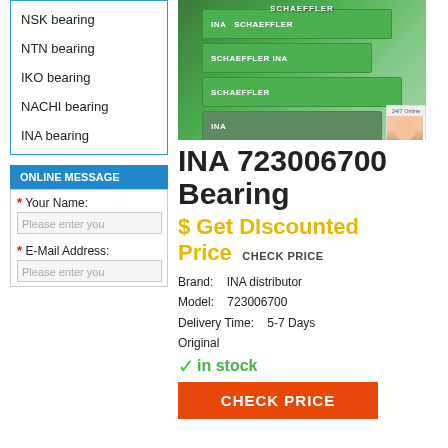NSK bearing
NTN bearing
IKO bearing
NACHI bearing
INA bearing
ONLINE MESSAGE
* Your Name:
Please enter you
* E-Mail Address:
Please enter you
[Figure (photo): Schaeffler/INA bearing product boxes stacked, green boxes with logos]
INA 723006700 Bearing
$ Get Discounted Price  CHECK PRICE
Brand:    INA distributor
Model:    723006700
Delivery Time:    5-7 Days
Original
✓in stock
CHECK PRICE